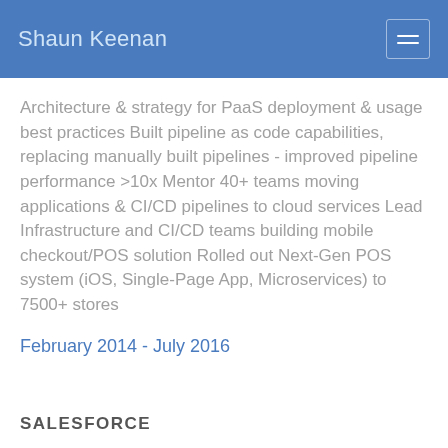Shaun Keenan
Architecture & strategy for PaaS deployment & usage best practices Built pipeline as code capabilities, replacing manually built pipelines - improved pipeline performance >10x Mentor 40+ teams moving applications & CI/CD pipelines to cloud services Lead Infrastructure and CI/CD teams building mobile checkout/POS solution Rolled out Next-Gen POS system (iOS, Single-Page App, Microservices) to 7500+ stores
February 2014 - July 2016
SALESFORCE